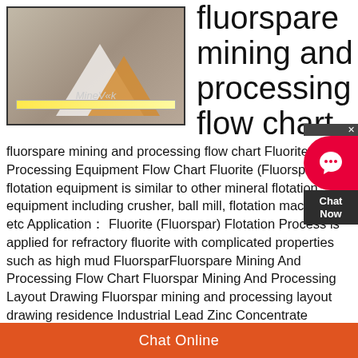[Figure (photo): Photo of mining tools including a hammer and tape measure with triangular logo overlays and MineVik watermark text]
fluorspare mining and processing flow chart
fluorspare mining and processing flow chart Fluorite Mining Processing Equipment Flow Chart Fluorite (Fluorspar) flotation equipment is similar to other mineral flotation equipment including crusher, ball mill, flotation machine, etc Application： Fluorite (Fluorspar) Flotation Process is applied for refractory fluorite with complicated properties such as high mud FluorsparFluorspare Mining And Processing Flow Chart Fluorspar Mining And Processing Layout Drawing Fluorspar mining and processing layout drawing residence Industrial Lead Zinc Concentrate
Chat Online